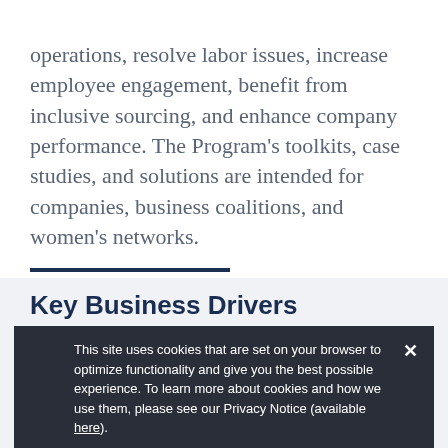operations, resolve labor issues, increase employee engagement, benefit from inclusive sourcing, and enhance company performance. The Program's toolkits, case studies, and solutions are intended for companies, business coalitions, and women's networks.
Key Business Drivers
We work upwards from the employee level, striving to boost performance throughout the entire organization. Beginning with an assessment of the client organization and the women they employ, the Women's Employment Program provides clients with insights and tools that are tailor-made to solve their challenges and achieve
This site uses cookies that are set on your browser to optimize functionality and give you the best possible experience. To learn more about cookies and how we use them, please see our Privacy Notice (available here).